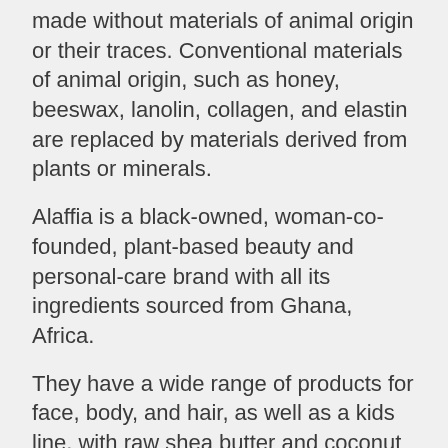made without materials of animal origin or their traces. Conventional materials of animal origin, such as honey, beeswax, lanolin, collagen, and elastin are replaced by materials derived from plants or minerals.
Alaffia is a black-owned, woman-co-founded, plant-based beauty and personal-care brand with all its ingredients sourced from Ghana, Africa.
They have a wide range of products for face, body, and hair, as well as a kids line, with raw shea butter and coconut as their main ingredients. The products are cruelty-free, without sulfates, parabens, phthalates, mineral oil, petroleum, or synthetic colouring.